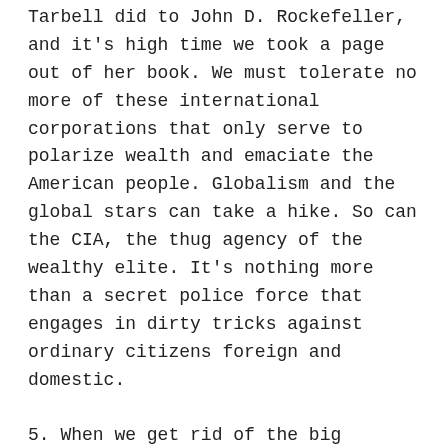Tarbell did to John D. Rockefeller, and it's high time we took a page out of her book. We must tolerate no more of these international corporations that only serve to polarize wealth and emaciate the American people. Globalism and the global stars can take a hike. So can the CIA, the thug agency of the wealthy elite. It's nothing more than a secret police force that engages in dirty tricks against ordinary citizens foreign and domestic.
5. When we get rid of the big corporations, we can jettison these international superstars like LeBron James also. Shameless James works against the black man. He incites riots in the inner cities that destroy black lives' neighborhoods.
6. And the 6 of Democra the worst of the worst